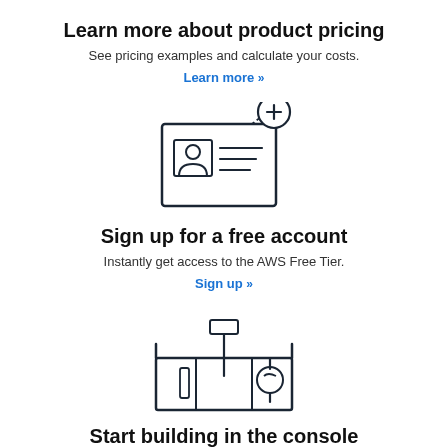Learn more about product pricing
See pricing examples and calculate your costs.
Learn more »
[Figure (illustration): Icon of an ID card/profile card with a person silhouette and lines representing text, with a plus symbol in a circle at the top right corner, connected by a dashed line.]
Sign up for a free account
Instantly get access to the AWS Free Tier.
Sign up »
[Figure (illustration): Icon of a toolbox with a hammer, wrench/spanner, and a small tool, inside a rectangular box with open top, viewed from front.]
Start building in the console
Get started building with AWS Key Management Service in